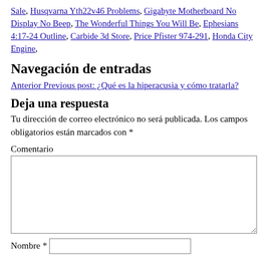Sale, Husqvarna Yth22v46 Problems, Gigabyte Motherboard No Display No Beep, The Wonderful Things You Will Be, Ephesians 4:17-24 Outline, Carbide 3d Store, Price Pfister 974-291, Honda City Engine,
Navegación de entradas
Anterior Previous post: ¿Qué es la hiperacusia y cómo tratarla?
Deja una respuesta
Tu dirección de correo electrónico no será publicada. Los campos obligatorios están marcados con *
Comentario
Nombre *